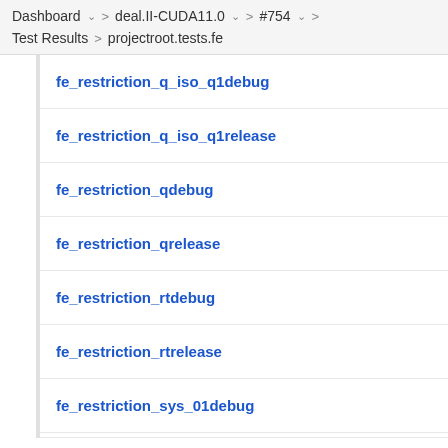Dashboard > deal.II-CUDA11.0 > #754 > Test Results > projectroot.tests.fe
fe_restriction_q_iso_q1debug
fe_restriction_q_iso_q1release
fe_restriction_qdebug
fe_restriction_qrelease
fe_restriction_rtdebug
fe_restriction_rtrelease
fe_restriction_sys_01debug